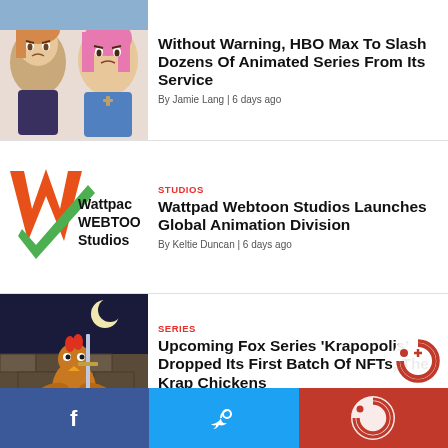[Figure (illustration): Animated cartoon characters - two girls with colorful hair looking concerned]
Without Warning, HBO Max To Slash Dozens Of Animated Series From Its Service
By Jamie Lang | 6 days ago
[Figure (logo): Wattpad Webtoon Studios logo - orange/green W with text]
STUDIOS
Wattpad Webtoon Studios Launches Global Animation Division
By Keltie Duncan | 6 days ago
[Figure (illustration): Animated rooster character holding a sword, dark fantasy setting, with NFT tag #09789]
SERIES
Upcoming Fox Series 'Krapopolis' Dropped Its First Batch Of NFTs, The Krap Chickens
By Jamie Lang | 6 days ago
Facebook | Twitter | Cartoon Brew logo